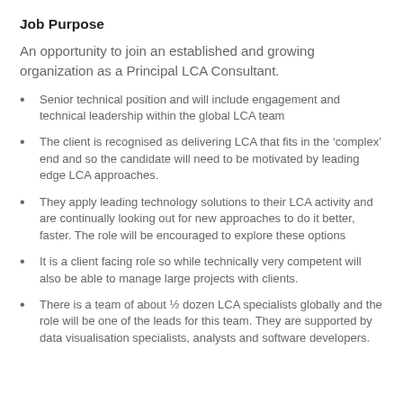Job Purpose
An opportunity to join an established and growing organization as a Principal LCA Consultant.
Senior technical position and will include engagement and technical leadership within the global LCA team
The client is recognised as delivering LCA that fits in the ‘complex’ end and so the candidate will need to be motivated by leading edge LCA approaches.
They apply leading technology solutions to their LCA activity and are continually looking out for new approaches to do it better, faster. The role will be encouraged to explore these options
It is a client facing role so while technically very competent will also be able to manage large projects with clients.
There is a team of about ½ dozen LCA specialists globally and the role will be one of the leads for this team. They are supported by data visualisation specialists, analysts and software developers.